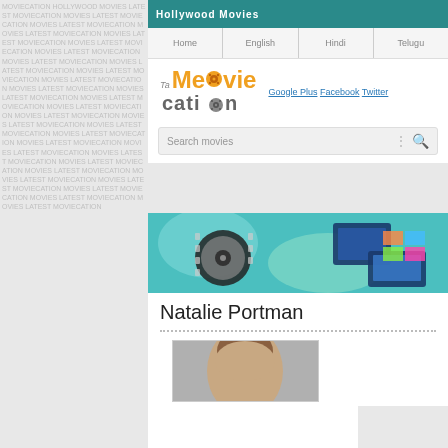Hollywood Movies
Home | English | Hindi | Telugu
[Figure (logo): Moviecation website logo with orange and grey text, film reel icon]
Google Plus  Facebook  Twitter
Search movies
[Figure (illustration): Film reel and movie screens banner illustration on teal/green background]
Natalie Portman
[Figure (photo): Photo of Natalie Portman, partial view showing face]